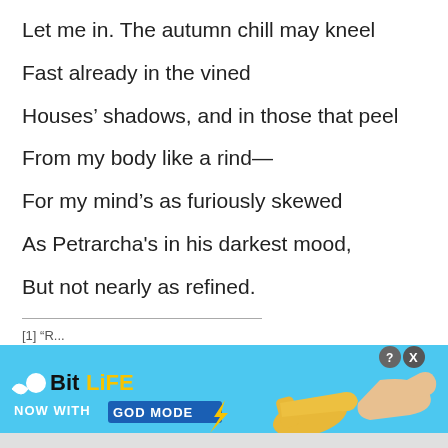Let me in. The autumn chill may kneel
Fast already in the vined
Houses’ shadows, and in those that peel
From my body like a rind—
For my mind’s as furiously skewed
As Petrarcha's in his darkest mood,
But not nearly as refined.
[1] “R...
[Figure (screenshot): BitLife advertisement banner: 'BitLife NOW WITH GOD MODE' with cartoon pointing hands, on a light blue background. Close buttons in top right corner.]